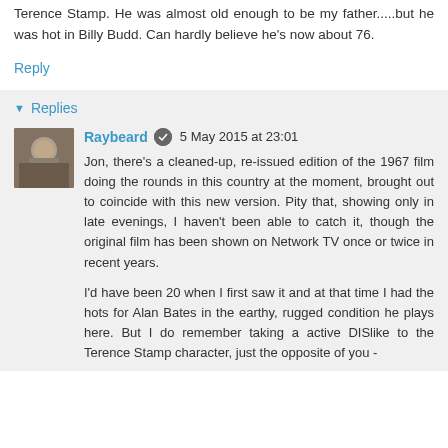Terence Stamp. He was almost old enough to be my father.....but he was hot in Billy Budd. Can hardly believe he's now about 76.
Reply
Replies
Raybeard  5 May 2015 at 23:01
Jon, there's a cleaned-up, re-issued edition of the 1967 film doing the rounds in this country at the moment, brought out to coincide with this new version. Pity that, showing only in late evenings, I haven't been able to catch it, though the original film has been shown on Network TV once or twice in recent years.

I'd have been 20 when I first saw it and at that time I had the hots for Alan Bates in the earthy, rugged condition he plays here. But I do remember taking a active DISlike to the Terence Stamp character, just the opposite of you -